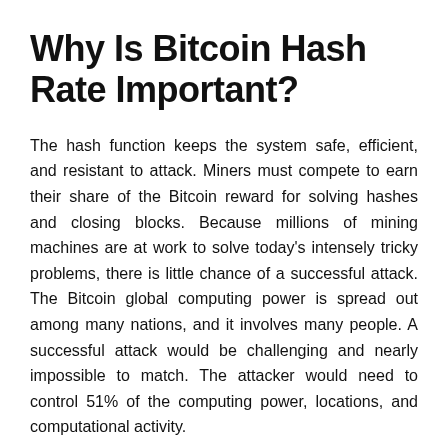Why Is Bitcoin Hash Rate Important?
The hash function keeps the system safe, efficient, and resistant to attack. Miners must compete to earn their share of the Bitcoin reward for solving hashes and closing blocks. Because millions of mining machines are at work to solve today's intensely tricky problems, there is little chance of a successful attack. The Bitcoin global computing power is spread out among many nations, and it involves many people. A successful attack would be challenging and nearly impossible to match. The attacker would need to control 51% of the computing power, locations, and computational activity.